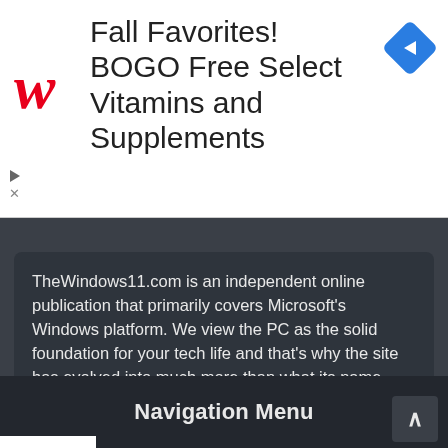[Figure (other): Walgreens advertisement banner: red Walgreens cursive W logo, text 'Fall Favorites! BOGO Free Select Vitamins and Supplements', blue diamond navigation icon, and ad controls (play/close)]
TheWindows11.com is an independent online publication that primarily covers Microsoft's Windows platform. We view the PC as the solid foundation for your tech life and that's why the site has evolved into much more than what its name stands for. We strive to provide important news, tips, and various advice for tech users, but we don't stop here. There's a lot of work going behind the scene and we tackle a lot of new areas,
Navigation Menu